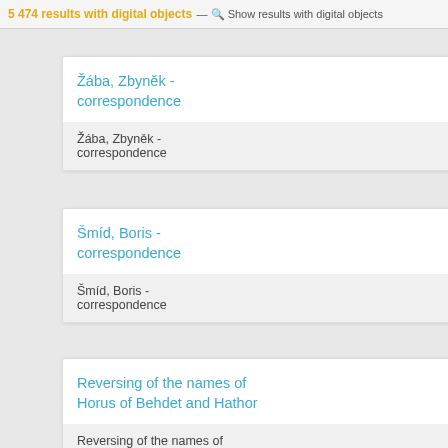5 474 results with digital objects — Show results with digital objects
Žába, Zbyněk - correspondence
Žába, Zbyněk - correspondence
Šmíd, Boris - correspondence
Šmíd, Boris - correspondence
Reversing of the names of Horus of Behdet and Hathor
Reversing of the names of Horus of Behdet and Hathor